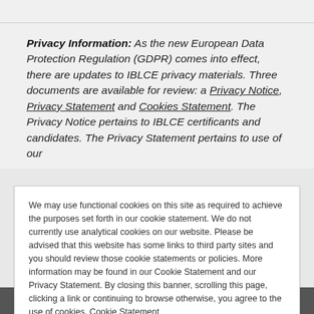Privacy Information: As the new European Data Protection Regulation (GDPR) comes into effect, there are updates to IBLCE privacy materials. Three documents are available for review: a Privacy Notice, Privacy Statement and Cookies Statement. The Privacy Notice pertains to IBLCE certificants and candidates. The Privacy Statement pertains to use of our
We may use functional cookies on this site as required to achieve the purposes set forth in our cookie statement. We do not currently use analytical cookies on our website. Please be advised that this website has some links to third party sites and you should review those cookie statements or policies. More information may be found in our Cookie Statement and our Privacy Statement. By closing this banner, scrolling this page, clicking a link or continuing to browse otherwise, you agree to the use of cookies. Cookie Statement